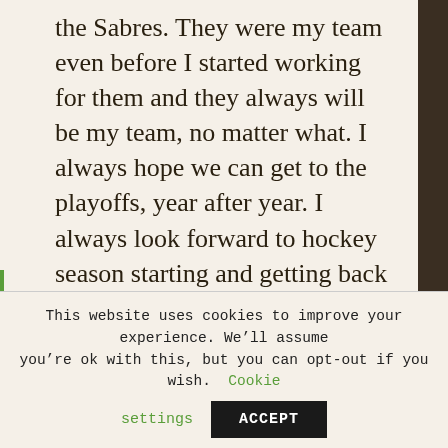the Sabres. They were my team even before I started working for them and they always will be my team, no matter what. I always hope we can get to the playoffs, year after year. I always look forward to hockey season starting and getting back to the arena to work and cheer for the guys on the ice.
“I’ve lived here all my life, and I can say for certain that Buffalo has an incredibly, and unusually, loyal fan base.”
Source
This website uses cookies to improve your experience. We’ll assume you’re ok with this, but you can opt-out if you wish. Cookie settings ACCEPT